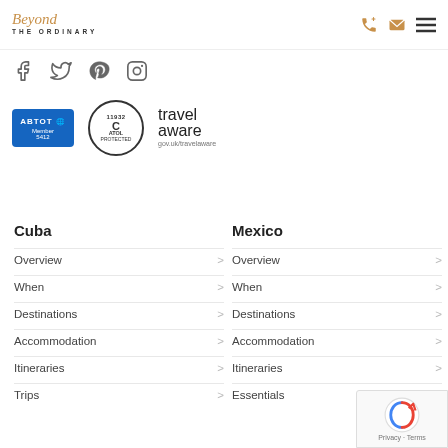Beyond The Ordinary — navigation header with phone, email, menu icons
[Figure (logo): Social media icons: Facebook, Twitter, Pinterest, Instagram]
[Figure (logo): ABTOT Member badge, ATOL Protected badge, Travel Aware gov.uk/travelaware badge]
Cuba
Mexico
Overview >
When >
Destinations >
Accommodation >
Itineraries >
Trips >
Overview >
When >
Destinations >
Accommodation >
Itineraries >
Essentials >